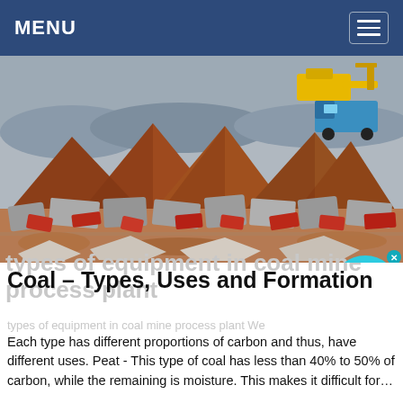MENU
[Figure (photo): Construction/mining site with large piles of reddish-brown crushed rock/gravel and rubble, yellow excavator and blue truck in background]
Coal – Types, Uses and Formation
Each type has different proportions of carbon and thus, have different uses. Peat - This type of coal has less than 40% to 50% of carbon, while the remaining is moisture. This makes it difficult for…